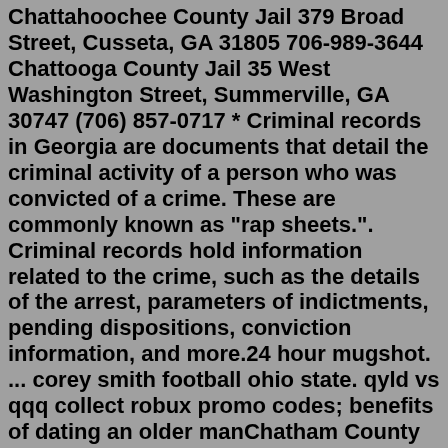Chattahoochee County Jail 379 Broad Street, Cusseta, GA 31805 706-989-3644 Chattooga County Jail 35 West Washington Street, Summerville, GA 30747 (706) 857-0717 * Criminal records in Georgia are documents that detail the criminal activity of a person who was convicted of a crime. These are commonly known as "rap sheets.". Criminal records hold information related to the crime, such as the details of the arrest, parameters of indictments, pending dispositions, conviction information, and more.24 hour mugshot. ... corey smith football ohio state. qyld vs qqq collect robux promo codes; benefits of dating an older manChatham County Jail. 1050 Carl Griffin Drive. Savannah, GA 31405. The inmate mail policy at Chatham County Jail changes often, so we suggest that you double check the official Chatham County Jail site before send a letter to someone in jail there. Return To Main Menu. Chatham County Detention Center, Chatham County, County Jail. Adult 295 West Street, Pittsboro, NC, 27312 ... How to Find Someone in Chatham County